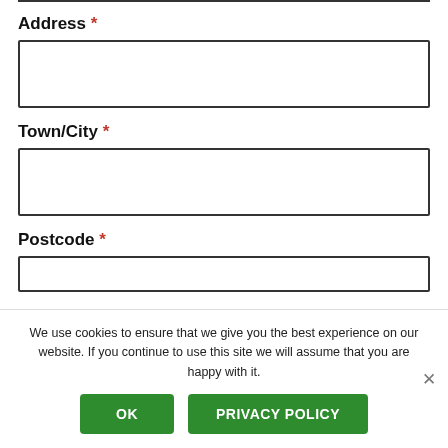Address *
Town/City *
Postcode *
We use cookies to ensure that we give you the best experience on our website. If you continue to use this site we will assume that you are happy with it.